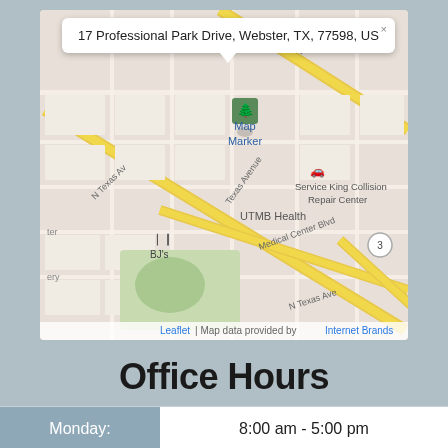[Figure (map): Map showing location at 17 Professional Park Drive, Webster, TX, 77598, US with nearby landmarks including BJ's restaurant, Service King Collision Repair Center, UTMB Health. Map popup with address visible. Attribution: Leaflet | Map data provided by Internet Brands.]
Office Hours
| Day | Hours |
| --- | --- |
| Monday: | 8:00 am - 5:00 pm |